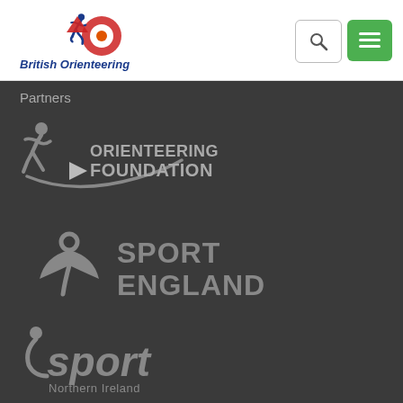[Figure (logo): British Orienteering logo — running figure with compass rose and text 'British Orienteering' in blue and red]
[Figure (other): Search button (magnifying glass icon) and green menu button (three horizontal lines) in top right of white header]
Partners
[Figure (logo): Orienteering Foundation logo — grey running figure with compass swoosh and text 'ORIENTEERING FOUNDATION' with play button icon]
[Figure (logo): Sport England logo — grey stylized figure/leaf emblem with bold text 'SPORT ENGLAND']
[Figure (logo): Sport Northern Ireland logo — grey stylised 'sport' wordmark with dot figure and text 'Northern Ireland']